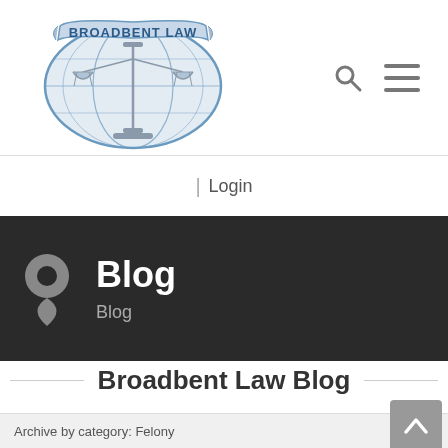[Figure (logo): Broadbent Law logo with scales of justice and banner reading BROADBENT LAW]
| Login
Blog
Blog
Broadbent Law Blog
Archive by category: Felony
Return